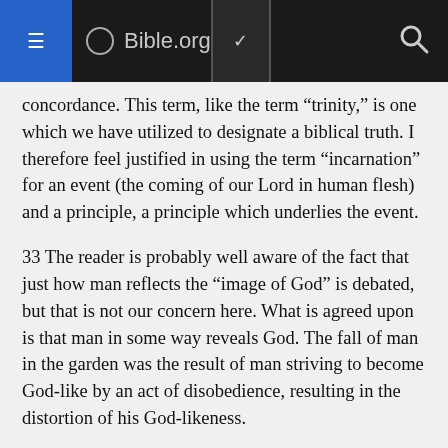Bible.org
concordance. This term, like the term “trinity,” is one which we have utilized to designate a biblical truth. I therefore feel justified in using the term “incarnation” for an event (the coming of our Lord in human flesh) and a principle, a principle which underlies the event.
33 The reader is probably well aware of the fact that just how man reflects the “image of God” is debated, but that is not our concern here. What is agreed upon is that man in some way reveals God. The fall of man in the garden was the result of man striving to become God-like by an act of disobedience, resulting in the distortion of his God-likeness.
34 Interestingly enough, the “man” with whom Jacob wrestled in Genesis 32 is called “God,” but not identified as